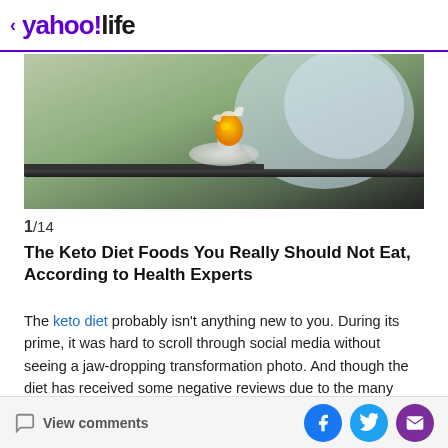< yahoo!life
[Figure (photo): Close-up photo of an egg being cracked over a dark frying pan, with a kitchen background]
1/14
The Keto Diet Foods You Really Should Not Eat, According to Health Experts
The keto diet probably isn't anything new to you. During its prime, it was hard to scroll through social media without seeing a jaw-dropping transformation photo. And though the diet has received some negative reviews due to the many keto side effects, there are ways to make the diet work for you and your body. If cutting back on carbs is something you're looking into, we tapped dietitians to break down the...
View comments